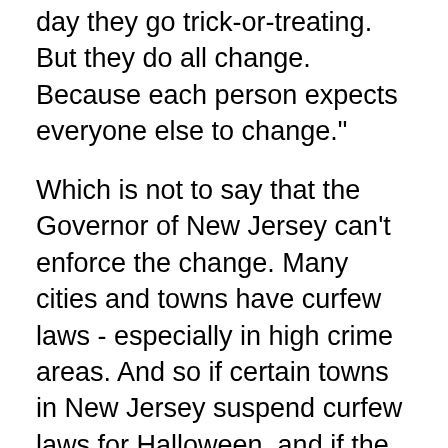day they go trick-or-treating. But they do all change. Because each person expects everyone else to change."

Which is not to say that the Governor of New Jersey can't enforce the change. Many cities and towns have curfew laws - especially in high crime areas. And so if certain towns in New Jersey suspend curfew laws for Halloween, and if the Governor changes the day that Halloween is celebrated, he has in fact change the day on which curfew laws will not be enforced.

And so the Governor did not